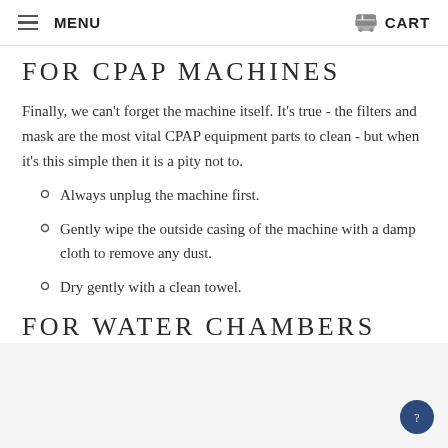MENU | CART
FOR CPAP MACHINES
Finally, we can't forget the machine itself. It's true - the filters and mask are the most vital CPAP equipment parts to clean - but when it's this simple then it is a pity not to.
Always unplug the machine first.
Gently wipe the outside casing of the machine with a damp cloth to remove any dust.
Dry gently with a clean towel.
FOR WATER CHAMBERS